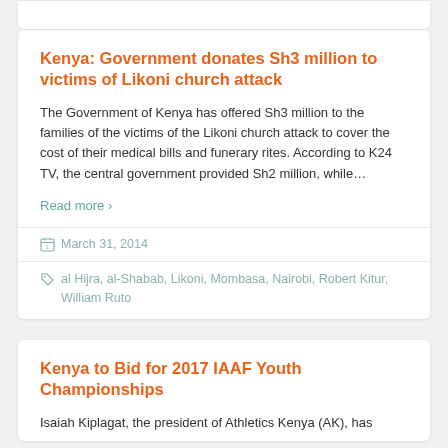Kenya: Government donates Sh3 million to victims of Likoni church attack
The Government of Kenya has offered Sh3 million to the families of the victims of the Likoni church attack to cover the cost of their medical bills and funerary rites. According to K24 TV, the central government provided Sh2 million, while…
Read more ›
March 31, 2014
al Hijra, al-Shabab, Likoni, Mombasa, Nairobi, Robert Kitur, William Ruto
Kenya to Bid for 2017 IAAF Youth Championships
Isaiah Kiplagat, the president of Athletics Kenya (AK), has